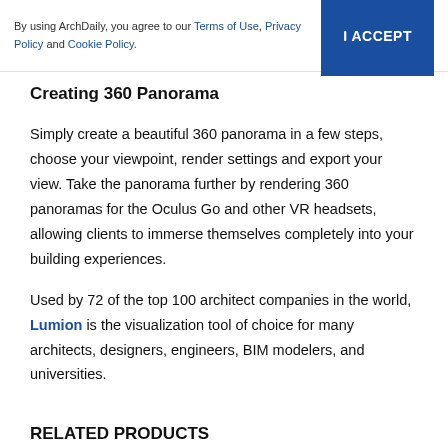By using ArchDaily, you agree to our Terms of Use, Privacy Policy and Cookie Policy. I ACCEPT
Creating 360 Panorama
Simply create a beautiful 360 panorama in a few steps, choose your viewpoint, render settings and export your view. Take the panorama further by rendering 360 panoramas for the Oculus Go and other VR headsets, allowing clients to immerse themselves completely into your building experiences.
Used by 72 of the top 100 architect companies in the world, Lumion is the visualization tool of choice for many architects, designers, engineers, BIM modelers, and universities.
RELATED PRODUCTS